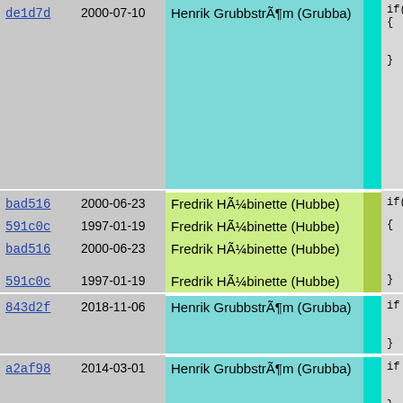| hash | date | author | stripe | code |
| --- | --- | --- | --- | --- |
| de1d7d | 2000-07-10 | Henrik GrubbstrÃ¶m (Grubba) |  | if(Pike_
{
    free_s
    Pike_c
} |
| bad516 | 2000-06-23 | Fredrik HÃ¼binette (Hubbe) |  | if(Pike_ |
| 591c0c | 1997-01-19 | Fredrik HÃ¼binette (Hubbe) |  | { |
| bad516 | 2000-06-23 | Fredrik HÃ¼binette (Hubbe) |  |     free_s
    Pike_c |
| 591c0c | 1997-01-19 | Fredrik HÃ¼binette (Hubbe) |  | } |
| 843d2f | 2018-11-06 | Henrik GrubbstrÃ¶m (Grubba) |  | if (Pike
    free_n
    Pike_c
} |
| a2af98 | 2014-03-01 | Henrik GrubbstrÃ¶m (Grubba) |  | if (Pike
    free_n
    Pike_c
} |
| bad516 | 2000-06-23 | Fredrik HÃ¼binette (Hubbe) |  | unuse_mo |
| 44e340 | 2013-10-09 | Arne Goedeke |  | free_all |